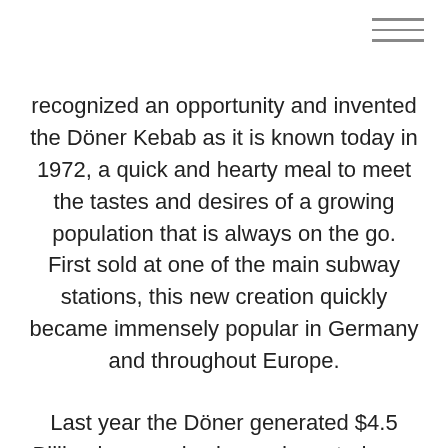recognized an opportunity and invented the Döner Kebab as it is known today in 1972, a quick and hearty meal to meet the tastes and desires of a growing population that is always on the go. First sold at one of the main subway stations, this new creation quickly became immensely popular in Germany and throughout Europe.
Last year the Döner generated $4.5 Billion in annual sales and created over 200,000 new jobs. In Germany alone, over 1 billion Döner kebabs were served and annual sales of over 3.5billion euros and at least 600 ton of doner meat every day is